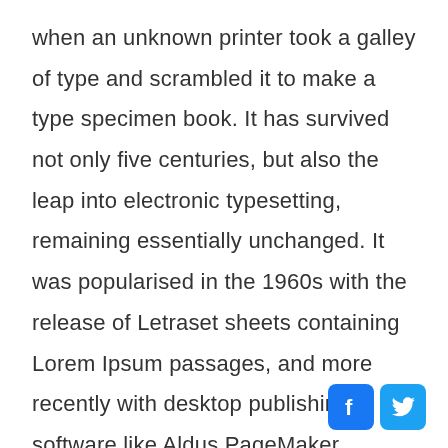when an unknown printer took a galley of type and scrambled it to make a type specimen book. It has survived not only five centuries, but also the leap into electronic typesetting, remaining essentially unchanged. It was popularised in the 1960s with the release of Letraset sheets containing Lorem Ipsum passages, and more recently with desktop publishing software like Aldus PageMaker including versions of Lorem Ipsum.
[Figure (other): Facebook and Twitter social media share icons at the bottom right of the page]